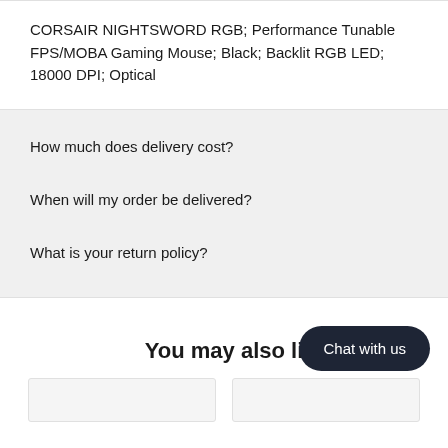CORSAIR NIGHTSWORD RGB; Performance Tunable FPS/MOBA Gaming Mouse; Black; Backlit RGB LED; 18000 DPI; Optical
How much does delivery cost?
When will my order be delivered?
What is your return policy?
You may also li
Chat with us